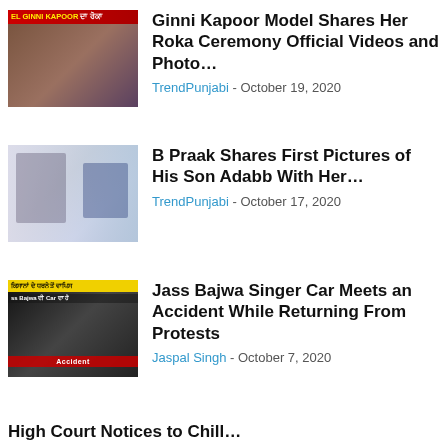[Figure (photo): Thumbnail image for Ginni Kapoor Roka Ceremony article showing a couple, with a red banner text overlay in Punjabi]
Ginni Kapoor Model Shares Her Roka Ceremony Official Videos and Photo…
TrendPunjabi - October 19, 2020
[Figure (photo): Thumbnail image for B Praak article showing a couple with a baby in a collage style]
B Praak Shares First Pictures of His Son Adabb With Her…
TrendPunjabi - October 17, 2020
[Figure (photo): Thumbnail image for Jass Bajwa article showing a man near a car accident scene with Punjabi text overlay]
Jass Bajwa Singer Car Meets an Accident While Returning From Protests
Jaspal Singh - October 7, 2020
High Court Notices to Chill…